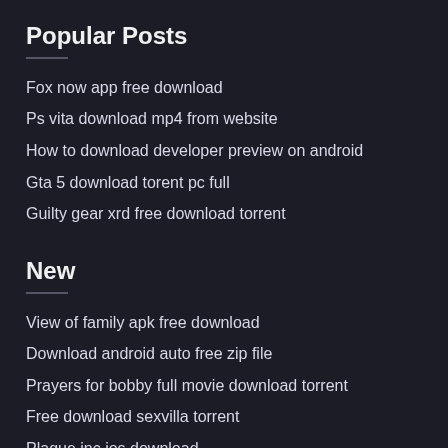Popular Posts
Fox now app free download
Ps vita download mp4 from website
How to download developer preview on android
Gta 5 download torent pc full
Guilty gear xrd free download torrent
New
View of family apk free download
Download android auto free zip file
Prayers for bobby full movie download torrent
Free download sexvilla torrent
Plague inc ios download